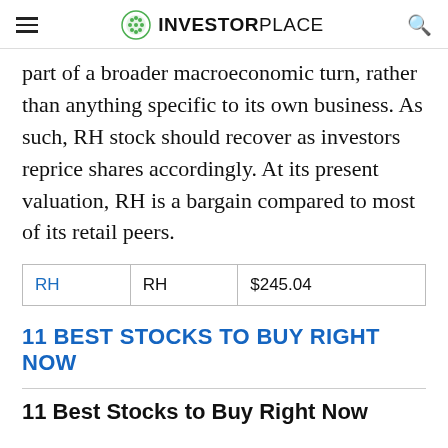InvestorPlace
part of a broader macroeconomic turn, rather than anything specific to its own business. As such, RH stock should recover as investors reprice shares accordingly. At its present valuation, RH is a bargain compared to most of its retail peers.
| RH | RH | $245.04 |
11 BEST STOCKS TO BUY RIGHT NOW
11 Best Stocks to Buy Right Now